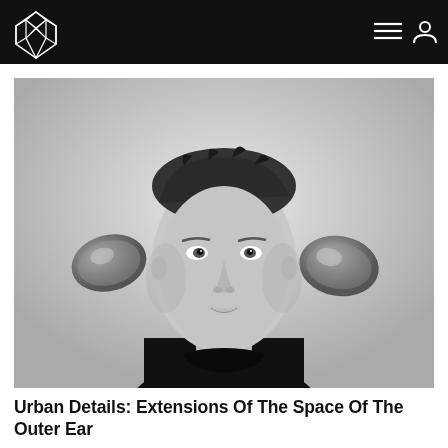Urban Details — site header with logo and navigation icons
[Figure (photo): Black and white portrait photograph of a man wearing a black t-shirt, with large ear-shaped prosthetic or sculptural extensions attached to the sides of his head, against a light grey background. The man is looking directly at the camera with a slight smile.]
Urban Details: Extensions Of The Space Of The Outer Ear